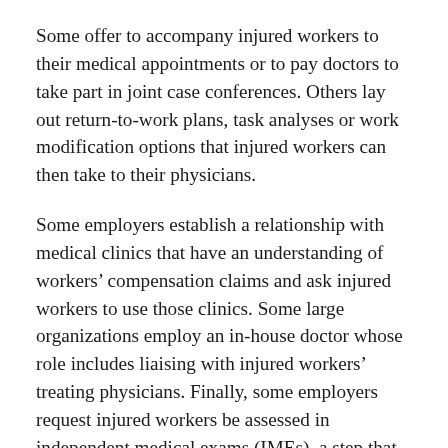Some offer to accompany injured workers to their medical appointments or to pay doctors to take part in joint case conferences. Others lay out return-to-work plans, task analyses or work modification options that injured workers can then take to their physicians.
Some employers establish a relationship with medical clinics that have an understanding of workers' compensation claims and ask injured workers to use those clinics. Some large organizations employ an in-house doctor whose role includes liaising with injured workers' treating physicians. Finally, some employers request injured workers be assessed in independent medical exams (IMEs), a step that also signals to both the insurer and the treating physician that the employer is unhappy with the way return to work is being managed. Kosny notes that IMEs can be difficult for injured workers and costly for the workers' compensation system.